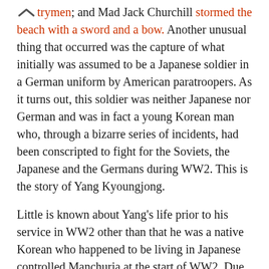trymen; and Mad Jack Churchill stormed the beach with a sword and a bow. Another unusual thing that occurred was the capture of what initially was assumed to be a Japanese soldier in a German uniform by American paratroopers. As it turns out, this soldier was neither Japanese nor German and was in fact a young Korean man who, through a bizarre series of incidents, had been conscripted to fight for the Soviets, the Japanese and the Germans during WW2. This is the story of Yang Kyoungjong.
Little is known about Yang's life prior to his service in WW2 other than that he was a native Korean who happened to be living in Japanese controlled Manchuria at the start of WW2. Due to this, Yang found himself conscripted against his will in 1938 and forced to serve in the Kwantung Army at just 18 years old.
After basic training, Yang was sent to take part in what